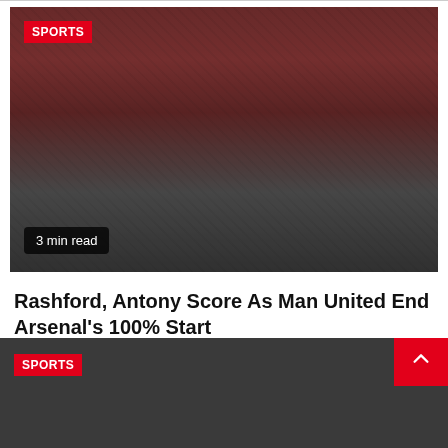[Figure (photo): Manchester United players celebrating in red kit, crowd in background, darkened photo overlay. Badge 'SPORTS' in top left, '3 min read' badge in bottom left.]
Rashford, Antony Score As Man United End Arsenal's 100% Start
10 hours ago
[Figure (photo): Second article preview image with dark background, SPORTS badge in top left.]